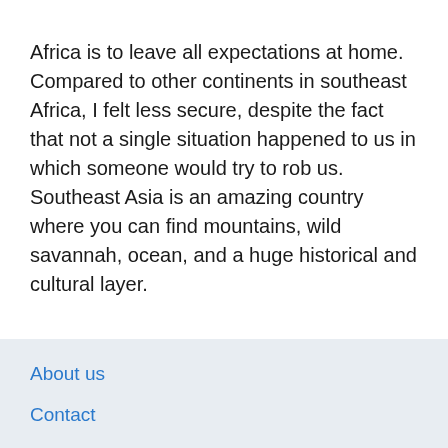Africa is to leave all expectations at home. Compared to other continents in southeast Africa, I felt less secure, despite the fact that not a single situation happened to us in which someone would try to rob us. Southeast Asia is an amazing country where you can find mountains, wild savannah, ocean, and a huge historical and cultural layer.
About us
Contact
Privacy Policy & Cookies
ATTENTION TO RIGHT HOLDERS! All